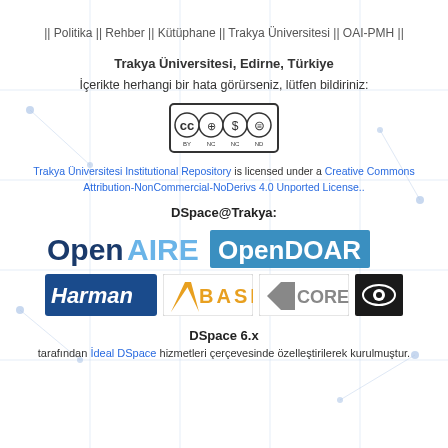|| Politika || Rehber || Kütüphane || Trakya Üniversitesi || OAI-PMH ||
Trakya Üniversitesi, Edirne, Türkiye
İçerikte herhangi bir hata görürseniz, lütfen bildiriniz:
[Figure (logo): Creative Commons BY NC ND license badge]
Trakya Üniversitesi Institutional Repository is licensed under a Creative Commons Attribution-NonCommercial-NoDerivs 4.0 Unported License..
DSpace@Trakya:
[Figure (logo): Logos: OpenAIRE, OpenDOAR, Harman, BASE, CORE, eye icon]
DSpace 6.x
tarafından İdeal DSpace hizmetleri çerçevesinde özelleştirilerek kurulmuştur.